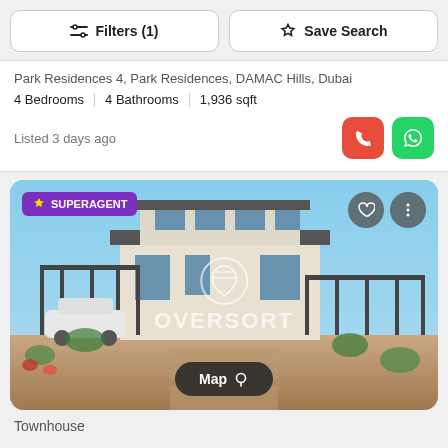⇄ Filters (1)
☆ Save Search
Park Residences 4, Park Residences, DAMAC Hills, Dubai
4 Bedrooms | 4 Bathrooms | 1,936 sqft
Listed 3 days ago
[Figure (photo): Exterior photo of a modern townhouse with SUPERAGENT badge, heart and more icons, OVERSORT watermark logo, and Map button at the bottom]
Townhouse